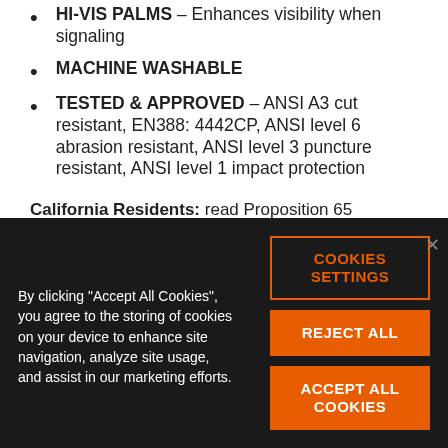HI-VIS PALMS – Enhances visibility when signaling
MACHINE WASHABLE
TESTED & APPROVED – ANSI A3 cut resistant, EN388: 4442CP, ANSI level 6 abrasion resistant, ANSI level 3 puncture resistant, ANSI level 1 impact protection
California Residents: read Proposition 65 warning.
By clicking "Accept All Cookies", you agree to the storing of cookies on your device to enhance site navigation, analyze site usage, and assist in our marketing efforts.
COOKIES SETTINGS
REJECT ALL
ACCEPT ALL COOKIES